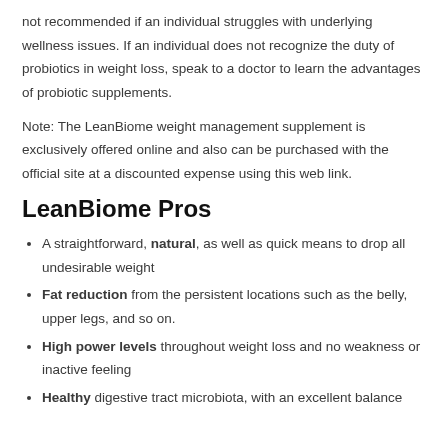not recommended if an individual struggles with underlying wellness issues. If an individual does not recognize the duty of probiotics in weight loss, speak to a doctor to learn the advantages of probiotic supplements.
Note: The LeanBiome weight management supplement is exclusively offered online and also can be purchased with the official site at a discounted expense using this web link.
LeanBiome Pros
A straightforward, natural, as well as quick means to drop all undesirable weight
Fat reduction from the persistent locations such as the belly, upper legs, and so on.
High power levels throughout weight loss and no weakness or inactive feeling
Healthy digestive tract microbiota, with an excellent balance